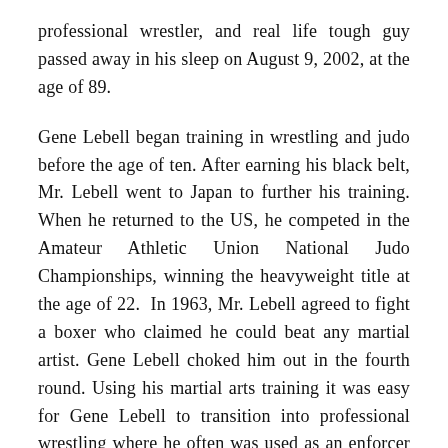professional wrestler, and real life tough guy passed away in his sleep on August 9, 2002, at the age of 89.
Gene Lebell began training in wrestling and judo before the age of ten. After earning his black belt, Mr. Lebell went to Japan to further his training. When he returned to the US, he competed in the Amateur Athletic Union National Judo Championships, winning the heavyweight title at the age of 22. In 1963, Mr. Lebell agreed to fight a boxer who claimed he could beat any martial artist. Gene Lebell choked him out in the fourth round. Using his martial arts training it was easy for Gene Lebell to transition into professional wrestling where he often was used as an enforcer during big matches.
Gene Lebell's reputation as a martial artist brought him